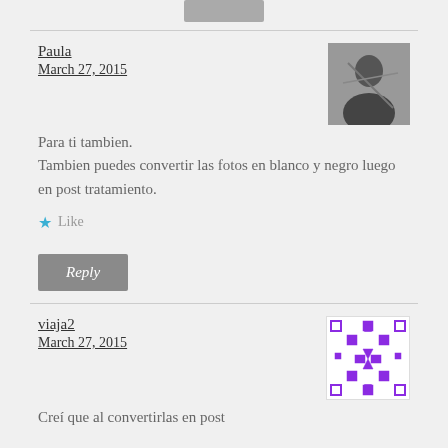[Figure (other): Grey button at top center]
Paula
March 27, 2015
[Figure (photo): Black and white avatar photo of Paula]
Para ti tambien. Tambien puedes convertir las fotos en blanco y negro luego en post tratamiento.
★ Like
Reply
viaja2
March 27, 2015
[Figure (illustration): Purple geometric pattern avatar for viaja2]
Creí que al convertirlas en post